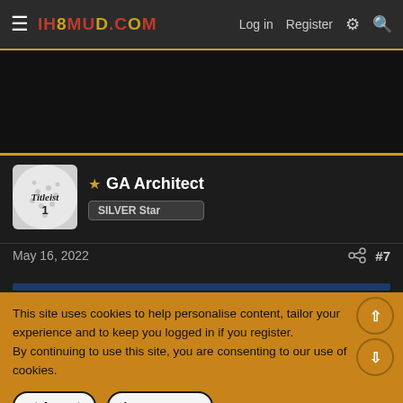IH8MUD.COM  Log in  Register
[Figure (screenshot): Dark ad space area]
* GA Architect
SILVER Star
May 16, 2022  #7
This site uses cookies to help personalise content, tailor your experience and to keep you logged in if you register.
By continuing to use this site, you are consenting to our use of cookies.
✓ Accept    Learn more...